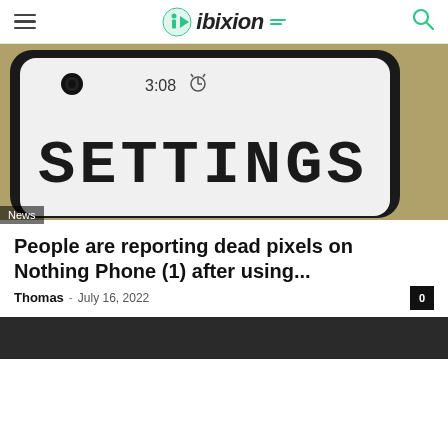ibixion
[Figure (photo): Close-up photo of a Nothing Phone (1) screen showing the Settings app in dotted pixel-style font, with time 3:08 shown in the status bar. A 'News' badge is shown in the bottom-left corner of the image.]
People are reporting dead pixels on Nothing Phone (1) after using...
Thomas · July 16, 2022
[Figure (photo): Partially visible dark image at the bottom of the page.]